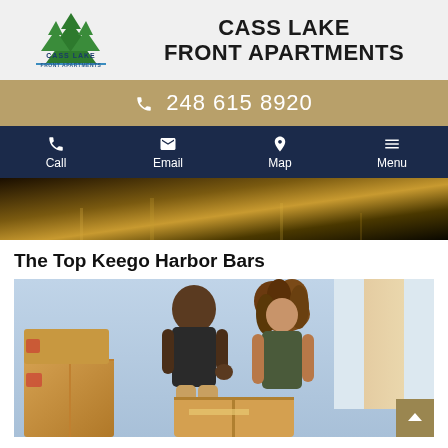[Figure (logo): Cass Lake Front Apartments logo with pine trees above text]
CASS LAKE FRONT APARTMENTS
📞 248 615 8920
Call | Email | Map | Menu
[Figure (photo): Dark interior room with warm golden lighting reflecting on floor]
The Top Keego Harbor Bars
[Figure (photo): Two people, a man in dark shirt and woman with curly hair, standing among moving boxes in an apartment]